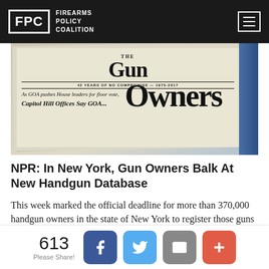FPC FIREARMS POLICY COALITION
[Figure (photo): Photo of 'The Gun Owners' newspaper/newsletter. Headline reads: '42 YEARS OF NO COMPROMISE - 1975-2017'. Subheadline: 'As GOA pushes House leaders for floor vote, Capitol Hill Offices Say GOA...']
NPR: In New York, Gun Owners Balk At New Handgun Database
This week marked the official deadline for more than 370,000 handgun owners in the state of New York to register those guns with state police. New York is trying to use that information to build a comprehensive record of gun owners — something only one other state has done. The database that
613 Please Share!